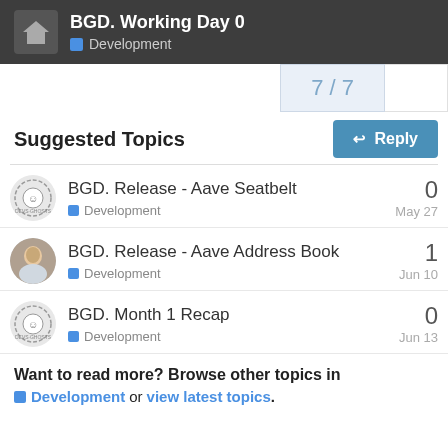BGD. Working Day 0 — Development
7 / 7
Suggested Topics
BGD. Release - Aave Seatbelt | Development | 0 replies | May 27
BGD. Release - Aave Address Book | Development | 1 reply | Jun 10
BGD. Month 1 Recap | Development | 0 replies | Jun 13
Want to read more? Browse other topics in Development or view latest topics.